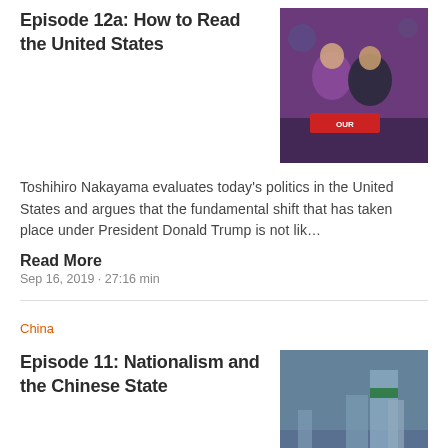Episode 12a: How to Read the United States
[Figure (photo): Two people at a political rally, one in a purple jacket, with a red sign visible.]
Toshihiro Nakayama evaluates today’s politics in the United States and argues that the fundamental shift that has taken place under President Donald Trump is not lik…
Read More
Sep 16, 2019 - 27:16 min
China
Episode 11: Nationalism and the Chinese State
[Figure (photo): Large crowd of people gathered outdoors in front of tall city buildings under a cloudy sky.]